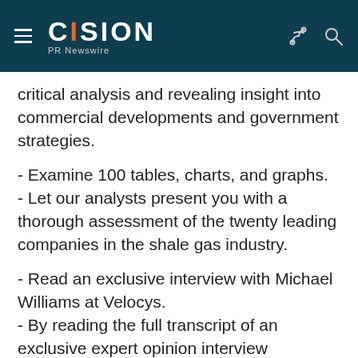CISION PR Newswire
critical analysis and revealing insight into commercial developments and government strategies.
- Examine 100 tables, charts, and graphs.
- Let our analysts present you with a thorough assessment of the twenty leading companies in the shale gas industry.
- Read an exclusive interview with Michael Williams at Velocys.
- By reading the full transcript of an exclusive expert opinion interview contained in the report you will keep up to speed with what is really happening in the industry. Don't fall behind. You will gain insight into